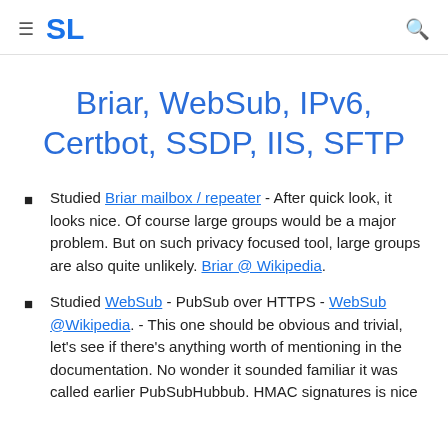≡  SL
Briar, WebSub, IPv6, Certbot, SSDP, IIS, SFTP
Studied Briar mailbox / repeater - After quick look, it looks nice. Of course large groups would be a major problem. But on such privacy focused tool, large groups are also quite unlikely. Briar @ Wikipedia.
Studied WebSub - PubSub over HTTPS - WebSub @Wikipedia. - This one should be obvious and trivial, let's see if there's anything worth of mentioning in the documentation. No wonder it sounded familiar it was called earlier PubSubHubbub. HMAC signatures is nice